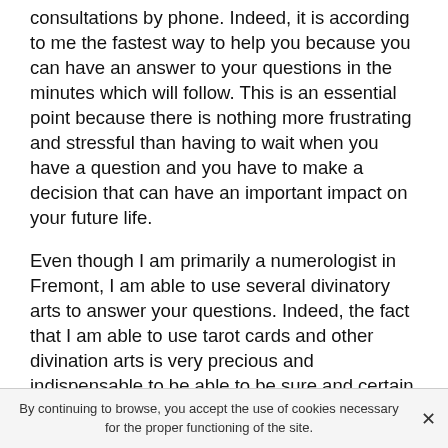consultations by phone. Indeed, it is according to me the fastest way to help you because you can have an answer to your questions in the minutes which will follow. This is an essential point because there is nothing more frustrating and stressful than having to wait when you have a question and you have to make a decision that can have an important impact on your future life.
Even though I am primarily a numerologist in Fremont, I am able to use several divinatory arts to answer your questions. Indeed, the fact that I am able to use tarot cards and other divination arts is very precious and indispensable to be able to be sure and certain of my answers. In order for you to be able to have a new and more fulfilling life, it seems essential to me not to waste any more time to dial my cheap phone number for a consultation without waiting for psychic. I say it again, if
By continuing to browse, you accept the use of cookies necessary for the proper functioning of the site.